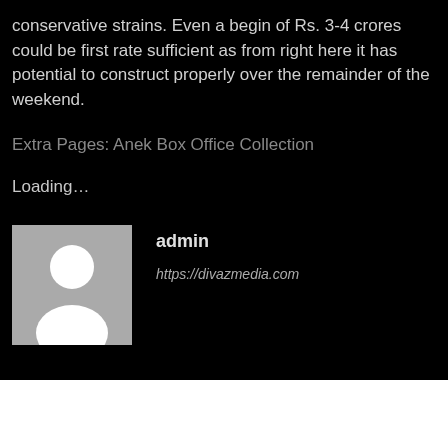conservative strains. Even a begin of Rs. 3-4 crores could be first rate sufficient as from right here it has potential to construct properly over the remainder of the weekend.
Extra Pages: Anek Box Office Collection
Loading...
[Figure (illustration): Grey avatar placeholder image showing a white silhouette of a person (head and shoulders) on a grey background]
admin
https://divazmedia.com